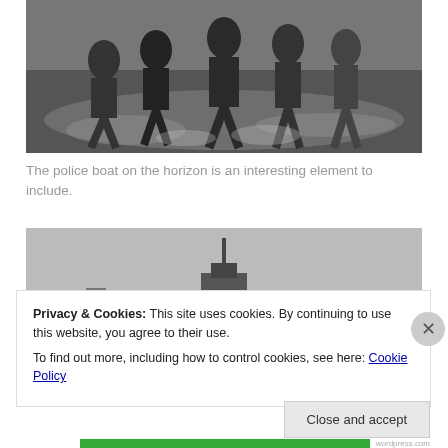[Figure (photo): Black and white photo of a group of people in swimwear running through shallow water at a beach, splashing water around them.]
The police boat on the horizon is an interesting element to include.
[Figure (photo): Black and white photo of a body of water with a structure (police boat) visible on the horizon, with water spray visible.]
Privacy & Cookies: This site uses cookies. By continuing to use this website, you agree to their use.
To find out more, including how to control cookies, see here: Cookie Policy
Close and accept